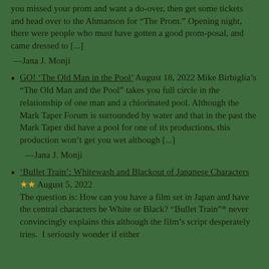you missed your prom and want a do-over, then get some tickets and head over to the Ahmanson for “The Prom.” Opening night, there were people who must have gotten a good prom-posal, and came dressed to [...]
—Jana J. Monji
GO! ‘The Old Man in the Pool’ August 18, 2022 Mike Birbiglia’s “The Old Man and the Pool” takes you full circle in the relationship of one man and a chlorinated pool. Although the Mark Taper Forum is surrounded by water and that in the past the Mark Taper did have a pool for one of its productions, this production won’t get you wet although [...]
—Jana J. Monji
‘Bullet Train’: Whitewash and Blackout of Japanese Characters ★★ August 5, 2022 The question is: How can you have a film set in Japan and have the central characters be White or Black? “Bullet Train”* never convincingly explains this although the film’s script desperately tries. I seriously wonder if either